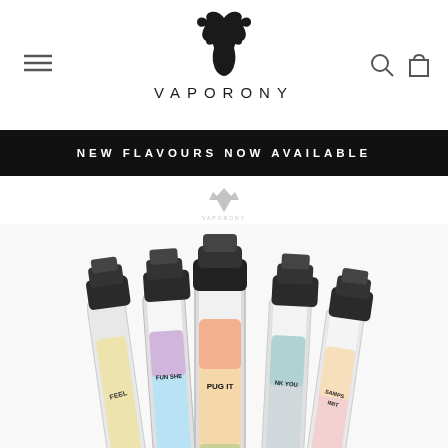[Figure (logo): Vaporony logo: black deer/stag head silhouette above the text VAPORONY in spaced uppercase letters]
[Figure (illustration): Hamburger menu icon (three horizontal lines) on the left side of the header]
[Figure (illustration): Search icon (magnifying glass) and shopping bag icon on the right side of the header]
NEW FLAVOURS NOW AVAILABLE
[Figure (logo): Small Vaporony sub-logo (antler Y shape) with text VAPORONY below it]
[Figure (photo): Five colorful e-liquid/vape bottles with artistic illustrated labels and black caps, arranged in a fan/group, cropped at the bottom. Visible label text fragments: FEEL, FUN SHE, PUG IT, NK YOU, SAMPS, IMIT]